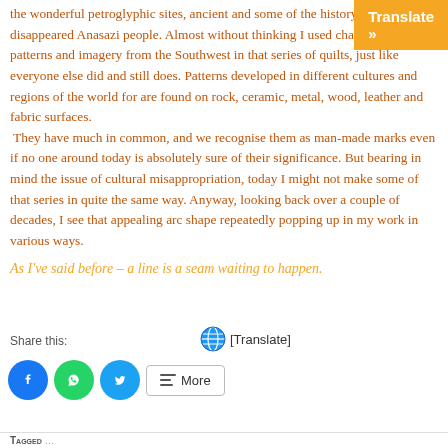[Figure (other): Orange 'Translate »' button banner in top-right corner]
the wonderful petroglyphic sites, ancient and some of the history of the now disappeared Anasazi people.  Almost without thinking I used characteristic patterns and imagery from the Southwest in that series of quilts,  just like everyone else did and still does.  Patterns developed in different cultures and regions of the world for are found on rock, ceramic, metal, wood, leather and fabric surfaces.  They have much in common, and we recognise them as man-made marks even if no one around today is absolutely sure of their significance.  But bearing in mind the issue of cultural misappropriation, today I might not make some of that series in quite the same way. Anyway, looking back over a couple of decades, I see that appealing arc shape repeatedly popping up in my work in various ways.
As I've said before – a line is a seam waiting to happen.
Share this:
[Figure (other): Globe emoji and [Translate] link]
[Figure (other): Social share buttons: Facebook (blue circle), WhatsApp (green circle), Twitter (blue circle), More button]
Tagged...